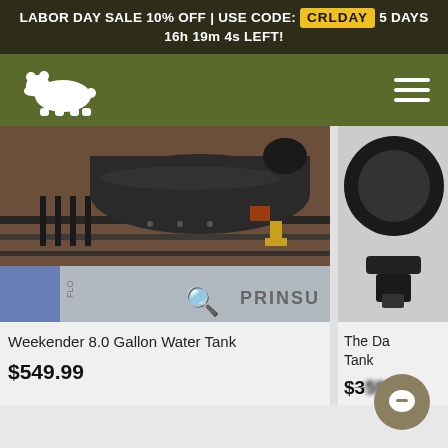LABOR DAY SALE 10% OFF | USE CODE: CRLDAY 5 DAYS 16h 19m 4s LEFT!
[Figure (logo): White bear silhouette logo on olive green navigation bar, with hamburger menu icon on the right]
[Figure (photo): Black cylindrical water tank mounted on a Prinsu roof rack on a vehicle, viewed from below at an angle in desert/outdoor setting]
Weekender 8.0 Gallon Water Tank
$549.99
[Figure (photo): Partial view of a second product (The Da... Tank) showing a dark circular object and mounting hardware, partially cropped at right edge]
The Da Tank
$3??